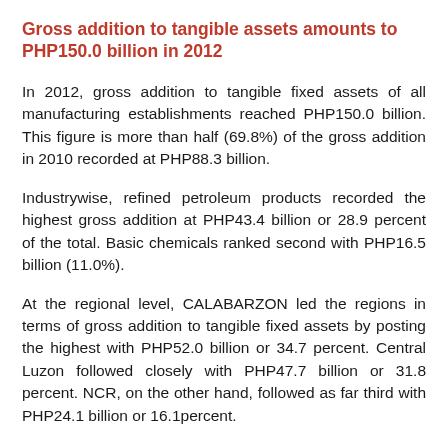Gross addition to tangible assets amounts to PHP150.0 billion in 2012
In 2012, gross addition to tangible fixed assets of all manufacturing establishments reached PHP150.0 billion. This figure is more than half (69.8%) of the gross addition in 2010 recorded at PHP88.3 billion.
Industrywise, refined petroleum products recorded the highest gross addition at PHP43.4 billion or 28.9 percent of the total. Basic chemicals ranked second with PHP16.5 billion (11.0%).
At the regional level, CALABARZON led the regions in terms of gross addition to tangible fixed assets by posting the highest with PHP52.0 billion or 34.7 percent. Central Luzon followed closely with PHP47.7 billion or 31.8 percent. NCR, on the other hand, followed as far third with PHP24.1 billion or 16.1percent.